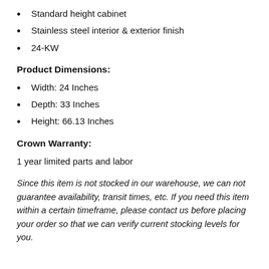Standard height cabinet
Stainless steel interior & exterior finish
24-KW
Product Dimensions:
Width: 24 Inches
Depth: 33 Inches
Height: 66.13 Inches
Crown Warranty:
1 year limited parts and labor
Since this item is not stocked in our warehouse, we can not guarantee availability, transit times, etc. If you need this item within a certain timeframe, please contact us before placing your order so that we can verify current stocking levels for you.